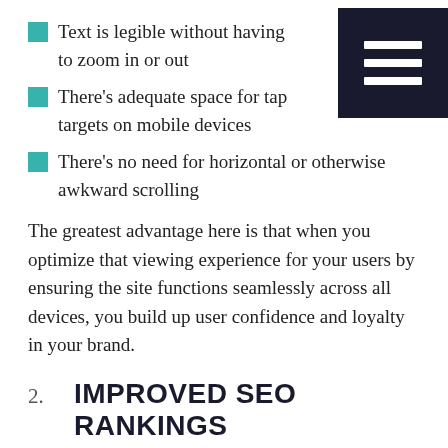Text is legible without having to zoom in or out
There’s adequate space for tap targets on mobile devices
There’s no need for horizontal or otherwise awkward scrolling
The greatest advantage here is that when you optimize that viewing experience for your users by ensuring the site functions seamlessly across all devices, you build up user confidence and loyalty in your brand.
2. IMPROVED SEO RANKINGS
To this point, we’ve talked a lot about design and functionality, but the importance of responsive web design spans well beyond just user experience. In fact, back in 2015, Google made changes to its search algorithms so that responsive websites now show up higher in search results than non-responsive ones. So, if you want prospective